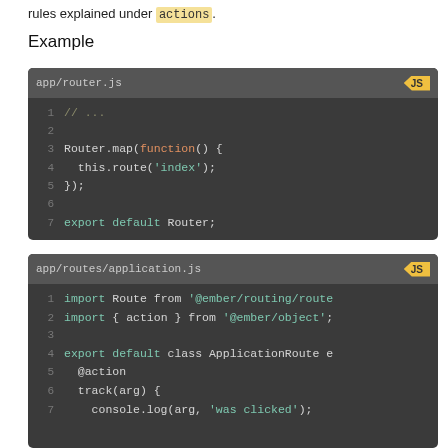rules explained under actions.
Example
[Figure (screenshot): Code block showing app/router.js with JS badge. Contains: 1: // ..., 2: (blank), 3: Router.map(function() {, 4:   this.route('index');, 5: });, 6: (blank), 7: export default Router;]
[Figure (screenshot): Code block showing app/routes/application.js with JS badge. Contains: 1: import Route from '@ember/routing/route', 2: import { action } from '@ember/object';, 3: (blank), 4: export default class ApplicationRoute e, 5:   @action, 6:   track(arg) {, 7:   console.log(arg, 'was clicked');]